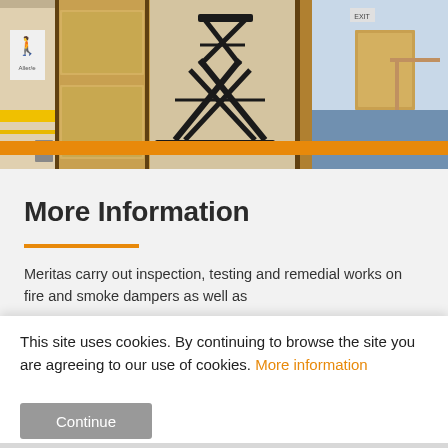[Figure (photo): Interior corridor/hallway photo showing wooden doors, a scissor lift/platform in the foreground, and a blue-carpeted corridor in the background. An orange bar runs across the bottom of the image.]
More Information
Meritas carry out inspection, testing and remedial works on fire and smoke dampers as well as
This site uses cookies. By continuing to browse the site you are agreeing to our use of cookies. More information
Continue